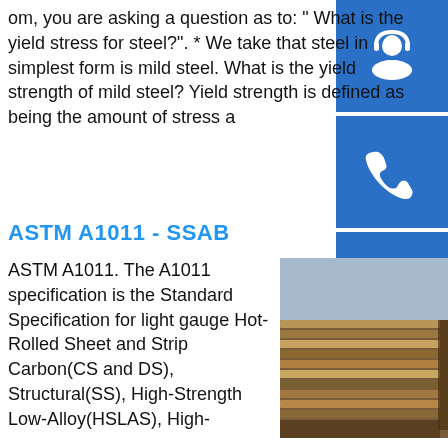om, you are asking a question as to: " What is the yield stress for steel?". * We take that steel in simplest form is mild steel. What is the yield strength of mild steel? Yield strength is defined as being the amount of stress a
ASTM A1011 - SSAB
ASTM A1011. The A1011 specification is the Standard Specification for light gauge Hot-Rolled Sheet and Strip Carbon(CS and DS), Structural(SS), High-Strength Low-Alloy(HSLAS), High-Strength Low-Alloy with Improved Formability(HSLAS-F), and Ultra-High Strength(UHSS) steels in thicknesses up to 0.230"(6 mm) in coil form.sp.info THE EFFECT OF CURRENT AND VOLTAGE ON …3.3. Yield stress and ultimate strength Results of the tensile test in table .4 show the changes of yield and ultimate stresses by changing the
[Figure (photo): Stack of steel sheet plates photographed from the side, showing layered metal sheets]